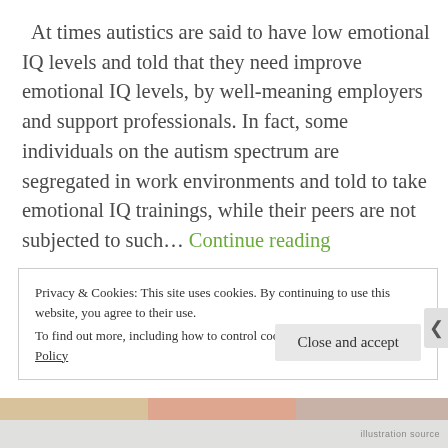At times autistics are said to have low emotional IQ levels and told that they need improve emotional IQ levels, by well-meaning employers and support professionals. In fact, some individuals on the autism spectrum are segregated in work environments and told to take emotional IQ trainings, while their peers are not subjected to such… Continue reading
Privacy & Cookies: This site uses cookies. By continuing to use this website, you agree to their use.
To find out more, including how to control cookies, see here: Cookie Policy